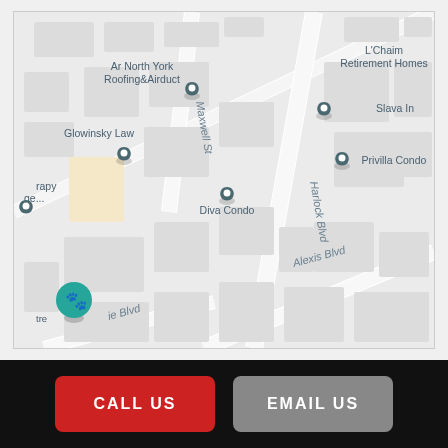[Figure (map): Google Maps view showing streets including Maxwell St, Harlock Blvd, Alexis Blvd. Location pins for Ar North York Roofing&Airduct, Glowinsky Law, L'Chaim Retirement Homes, Diva Condo, Privilla Condominiums. Teal pin for a pet-related centre in bottom-left corner.]
CALL US
EMAIL US